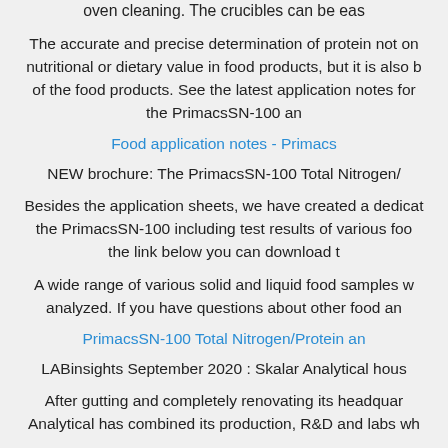oven cleaning. The crucibles can be eas
The accurate and precise determination of protein not on nutritional or dietary value in food products, but it is also b of the food products. See the latest application notes for the PrimacsSN-100 an
Food application notes - Primacs
NEW brochure: The PrimacsSN-100 Total Nitrogen/
Besides the application sheets, we have created a dedicat the PrimacsSN-100 including test results of various foo the link below you can download t
A wide range of various solid and liquid food samples w analyzed. If you have questions about other food an
PrimacsSN-100 Total Nitrogen/Protein an
LABinsights September 2020 : Skalar Analytical hous
After gutting and completely renovating its headquar Analytical has combined its production, R&D and labs wh